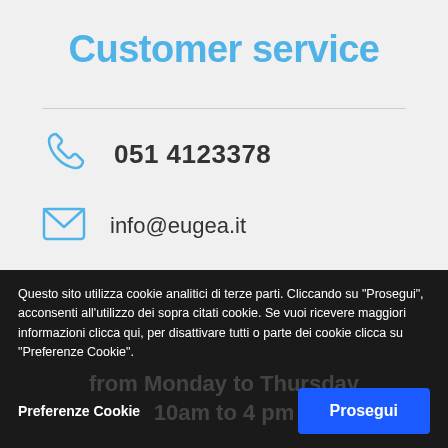Customer service
051 4123378
info@eugea.it
Questo sito utilizza cookie analitici di terze parti. Cliccando su "Prosegui", acconsenti all'utilizzo dei sopra citati cookie. Se vuoi ricevere maggiori informazioni clicca qui, per disattivare tutti o parte dei cookie clicca su "Preferenze Cookie".
Preferenze Cookie
Prosegui